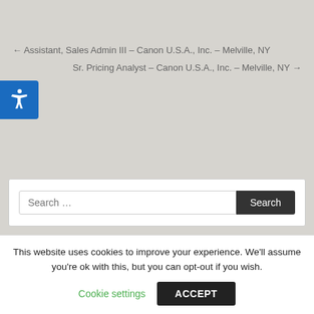← Assistant, Sales Admin III – Canon U.S.A., Inc. – Melville, NY
Sr. Pricing Analyst – Canon U.S.A., Inc. – Melville, NY →
[Figure (screenshot): Search bar with input field labeled 'Search ...' and a dark 'Search' button]
[Figure (screenshot): Blue content card with inner white box labeled 'Graphic' and a small white document icon in corner]
This website uses cookies to improve your experience. We'll assume you're ok with this, but you can opt-out if you wish.
Cookie settings
ACCEPT